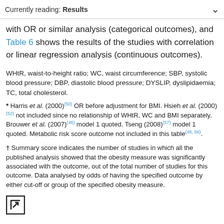Currently reading: Results
with OR or similar analysis (categorical outcomes), and Table 6 shows the results of the studies with correlation or linear regression analysis (continuous outcomes).
WHtR, waist-to-height ratio; WC, waist circumference; SBP, systolic blood pressure; DBP, diastolic blood pressure; DYSLIP, dyslipidaemia; TC, total cholesterol.
* Harris et al. (2000)(50) OR before adjustment for BMI. Hsieh et al. (2000)(52) not included since no relationship of WHtR, WC and BMI separately. Brouwer et al. (2007)(46) model 1 quoted. Tseng (2008)(57) model 1 quoted. Metabolic risk score outcome not included in this table(48, 56).
† Summary score indicates the number of studies in which all the published analysis showed that the obesity measure was significantly associated with the outcome, out of the total number of studies for this outcome. Data analysed by odds of having the specified outcome by either cut-off or group of the specified obesity measure.